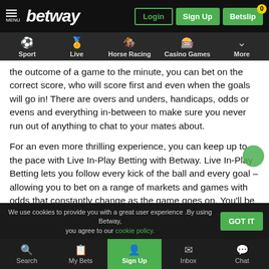[Figure (screenshot): Betway website top navigation bar with logo, Login, Sign Up, and Betslip buttons]
[Figure (screenshot): Sport navigation bar with Sport, Live, Horse Racing, Casino Games, More icons]
the outcome of a game to the minute, you can bet on the correct score, who will score first and even when the goals will go in! There are overs and unders, handicaps, odds or evens and everything in-between to make sure you never run out of anything to chat to your mates about.
For an even more thrilling experience, you can keep up to the pace with Live In-Play Betting with Betway. Live In-Play Betting lets you follow every kick of the ball and every goal – allowing you to bet on a range of markets and games with odds that constantly change as the game goes on. You'll be able to make your predictions based on a team's possession, how many cards they've received, how each team is doing in defense and how many goals have been
We use cookies to provide you with a great user experience .By using Betway, you agree to our cookie policy.
Search  My Bets  Sign Up  Inbox  Chat